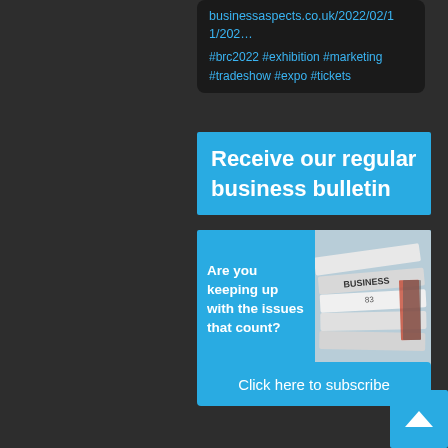businessaspects.co.uk/2022/02/11/202… #brc2022 #exhibition #marketing #tradeshow #expo #tickets
Receive our regular business bulletin
[Figure (infographic): Blue panel with text 'Are you keeping up with the issues that count?' alongside a photo of stacked newspapers/magazines]
Click here to subscribe